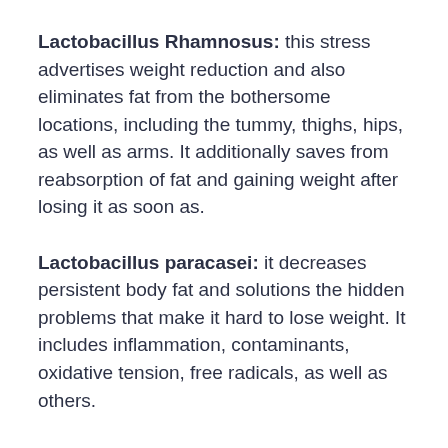Lactobacillus Rhamnosus: this stress advertises weight reduction and also eliminates fat from the bothersome locations, including the tummy, thighs, hips, as well as arms. It additionally saves from reabsorption of fat and gaining weight after losing it as soon as.
Lactobacillus paracasei: it decreases persistent body fat and solutions the hidden problems that make it hard to lose weight. It includes inflammation, contaminants, oxidative tension, free radicals, as well as others.
Lactobacillus Fermentum: this stress uses cholesterol monitoring and also immunological